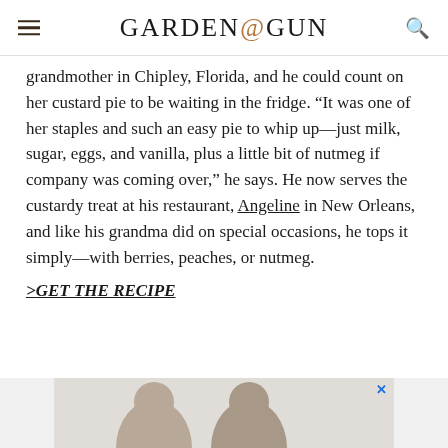GARDEN&GUN
grandmother in Chipley, Florida, and he could count on her custard pie to be waiting in the fridge. “It was one of her staples and such an easy pie to whip up—just milk, sugar, eggs, and vanilla, plus a little bit of nutmeg if company was coming over,” he says. He now serves the custardy treat at his restaurant, Angeline in New Orleans, and like his grandma did on special occasions, he tops it simply—with berries, peaches, or nutmeg.
>GET THE RECIPE
[Figure (photo): Advertisement banner at bottom of page showing two people]